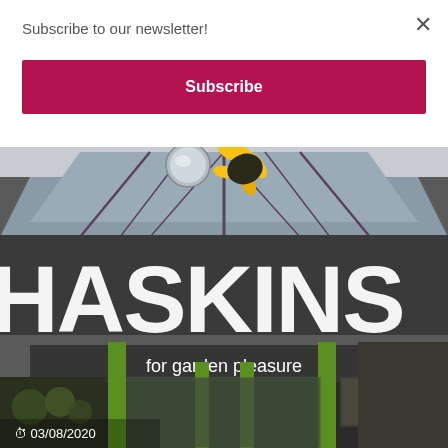Subscribe to our newsletter!
Subscribe
[Figure (photo): Exterior of a Haskins garden centre store. Large building with a glass canopy roof, a sunflower logo at the top, large white lettering reading 'HASKINS' and below it 'for garden pleasure'. Green pillars frame the entrance. Timestamp 03/08/2020 visible at bottom left.]